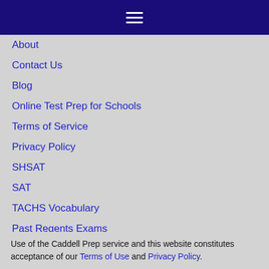≡
About
Contact Us
Blog
Online Test Prep for Schools
Terms of Service
Privacy Policy
SHSAT
SAT
TACHS Vocabulary
Past Regents Exams
Use of the Caddell Prep service and this website constitutes acceptance of our Terms of Use and Privacy Policy.